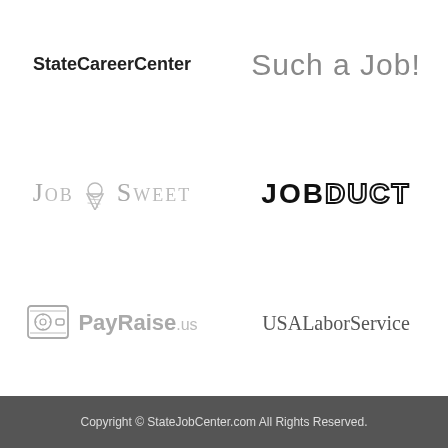[Figure (logo): StateCareerCenter logo - bold sans-serif text]
[Figure (logo): Such a Job! logo - handwritten/cursive style text in gray]
[Figure (logo): JobSweet logo - small-caps serif with ice cream cone icon]
[Figure (logo): JobDuct logo - bold black industrial/duct style lettering]
[Figure (logo): PayRaise.us logo - safe/cash register icon with gray text]
[Figure (logo): USALaborService logo - serif text in dark gray]
Copyright © StateJobCenter.com All Rights Reserved.